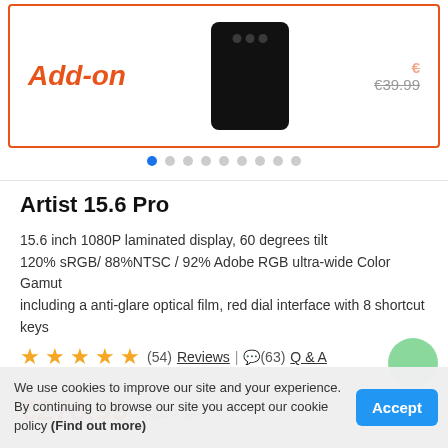[Figure (screenshot): Product banner showing 'Add-on' text in red italic, a black smartphone image, and a price of €39.99 with strikethrough. Below are carousel dot indicators.]
Artist 15.6 Pro
15.6 inch 1080P laminated display, 60 degrees tilt
120% sRGB/ 88%NTSC / 92% Adobe RGB ultra-wide Color Gamut
including a anti-glare optical film, red dial interface with 8 shortcut keys
(54) Reviews | (63) Q & A
€278.99  €449.99
We use cookies to improve our site and your experience. By continuing to browse our site you accept our cookie policy (Find out more)